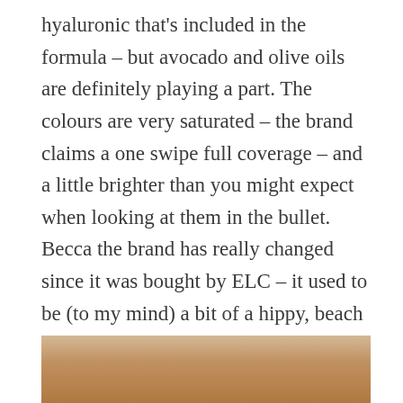hyaluronic that's included in the formula – but avocado and olive oils are definitely playing a part. The colours are very saturated – the brand claims a one swipe full coverage – and a little brighter than you might expect when looking at them in the bullet. Becca the brand has really changed since it was bought by ELC – it used to be (to my mind) a bit of a hippy, beach girl kind of brand, more about nuance and light play than full-on make up. Recent launches have moved Becca forward (I don't know if its for the better because I think its losing personality) to a more comprehensive and complete cosmetic offering.
[Figure (photo): Partial photo of a person's face/neck with warm tan skin tones and what appears to be a gold necklace visible]